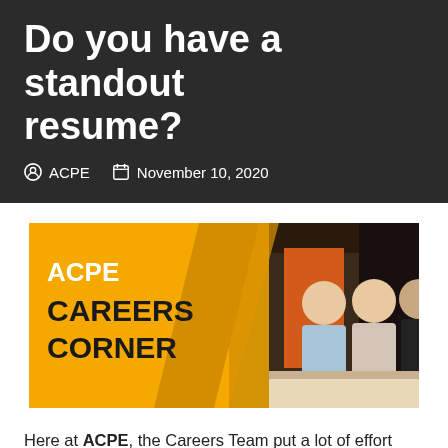Do you have a standout resume?
ACPE   November 10, 2020
[Figure (illustration): ACPE Careers Corner banner showing yellow diagonal design with bold text 'ACPE CAREERS CORNER' on the left and three people seated at a desk on the right.]
Here at ACPE, the Careers Team put a lot of effort and focus on educating our students on what we call the first step to a job application